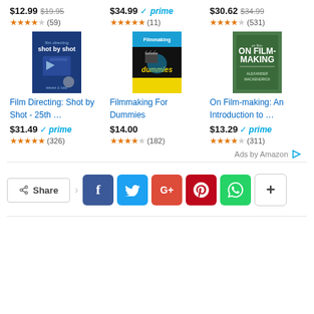$12.99 $19.95 ★★★★☆ (59)
$34.99 ✓prime ★★★★★ (11)
$30.62 $34.99 ★★★★☆ (531)
[Figure (illustration): Book cover: Film Directing Shot by Shot - dark blue cover with hands holding storyboard]
[Figure (illustration): Book cover: Filmmaking For Dummies - black/yellow cover with clapperboard]
[Figure (illustration): Book cover: On Film-making: An Introduction - green cover with text]
Film Directing: Shot by Shot - 25th ...
Filmmaking For Dummies
On Film-making: An Introduction to ...
$31.49 ✓prime ★★★★★ (326)
$14.00 ★★★★☆ (182)
$13.29 ✓prime ★★★★☆ (311)
Ads by Amazon ▷
< Share | f | t | G+ | P | WhatsApp | +